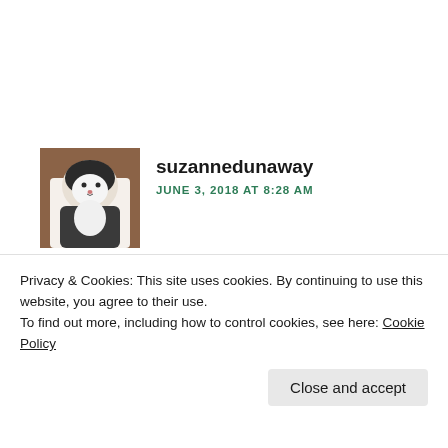suzannedunaway
JUNE 3, 2018 AT 8:28 AM
[Figure (photo): Small avatar photo of a cat (black and white cat, appears to be sitting or looking, against a brownish background)]
GREAT PICS. And thank you for commenting on Loulou. Love meeting you. And yes, suitcase ZIPPERS send me under the bed. But I'm staying with a Kitty Whisperer who adores me. Get TIP...
Privacy & Cookies: This site uses cookies. By continuing to use this website, you agree to their use.
To find out more, including how to control cookies, see here: Cookie Policy
Close and accept